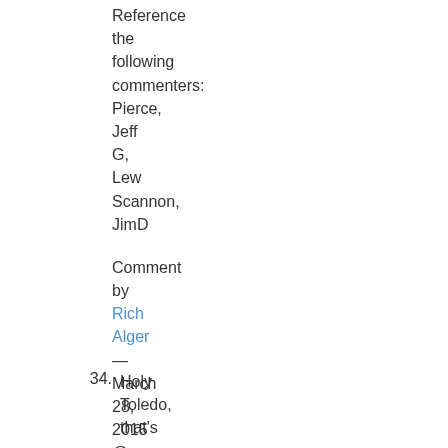Reference the following commenters: Pierce, Jeff G, Lew Scannon, JimD
Comment by Rich Alger — March 28, 2015 @ 6:58 am
......
34. Holy Toledo, that's a...